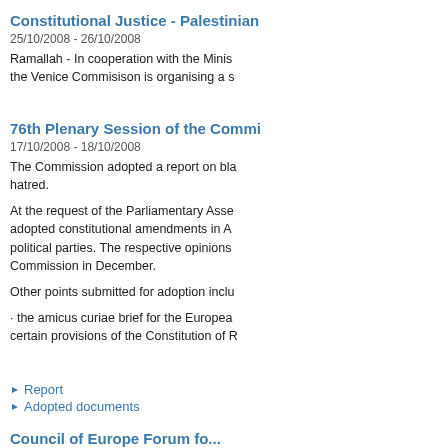Constitutional Justice - Palestinian
25/10/2008 - 26/10/2008
Ramallah - In cooperation with the Minis the Venice Commisison is organising a s
76th Plenary Session of the Commi
17/10/2008 - 18/10/2008
The Commission adopted a report on bla hatred.
At the request of the Parliamentary Asse adopted constitutional amendments in A political parties. The respective opinions Commission in December.
Other points submitted for adoption inclu
· the amicus curiae brief for the Europea certain provisions of the Constitution of R
Report
Adopted documents
Council of Europe Forum fo...